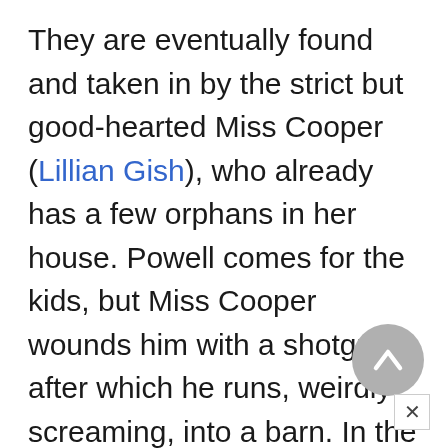They are eventually found and taken in by the strict but good-hearted Miss Cooper (Lillian Gish), who already has a few orphans in her house. Powell comes for the kids, but Miss Cooper wounds him with a shotgun, after which he runs, weirdly screaming, into a barn. In the morning, the state police come for Powell, and John gives them the $10,000 he has hidden for so long. The film ends with Miss Cooper and her brood celebrating Christmas.